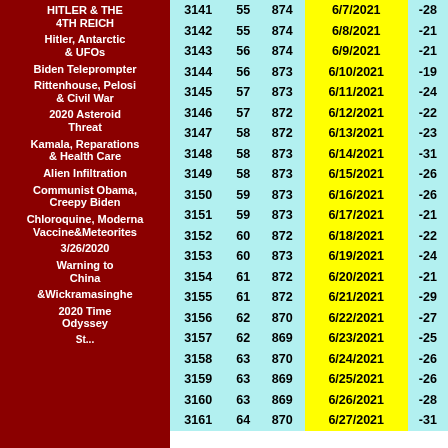| Label | ID | Col2 | Col3 | Date | Value |
| --- | --- | --- | --- | --- | --- |
| HITLER & THE 4TH REICH | 3141 | 55 | 874 | 6/7/2021 | -28 |
| Hitler, Antarctic & UFOs | 3142 | 55 | 874 | 6/8/2021 | -21 |
| Biden Teleprompter | 3143 | 56 | 874 | 6/9/2021 | -21 |
| Rittenhouse, Pelosi & Civil War | 3144 | 56 | 873 | 6/10/2021 | -19 |
| 2020 Asteroid Threat | 3145 | 57 | 873 | 6/11/2021 | -24 |
| Kamala, Reparations & Health Care | 3146 | 57 | 872 | 6/12/2021 | -22 |
| Alien Infiltration | 3147 | 58 | 872 | 6/13/2021 | -23 |
| Communist Obama, Creepy Biden | 3148 | 58 | 873 | 6/14/2021 | -31 |
| Chloroquine, Moderna Vaccine&Meteorites | 3149 | 58 | 873 | 6/15/2021 | -26 |
| 3/26/2020 Warning to China | 3150 | 59 | 873 | 6/16/2021 | -26 |
| &Wickramasinghe | 3151 | 59 | 873 | 6/17/2021 | -21 |
| 2020 Time Odyssey | 3152 | 60 | 872 | 6/18/2021 | -22 |
|  | 3153 | 60 | 873 | 6/19/2021 | -24 |
|  | 3154 | 61 | 872 | 6/20/2021 | -21 |
|  | 3155 | 61 | 872 | 6/21/2021 | -29 |
|  | 3156 | 62 | 870 | 6/22/2021 | -27 |
|  | 3157 | 62 | 869 | 6/23/2021 | -25 |
|  | 3158 | 63 | 870 | 6/24/2021 | -26 |
|  | 3159 | 63 | 869 | 6/25/2021 | -26 |
|  | 3160 | 63 | 869 | 6/26/2021 | -28 |
|  | 3161 | 64 | 870 | 6/27/2021 | -31 |